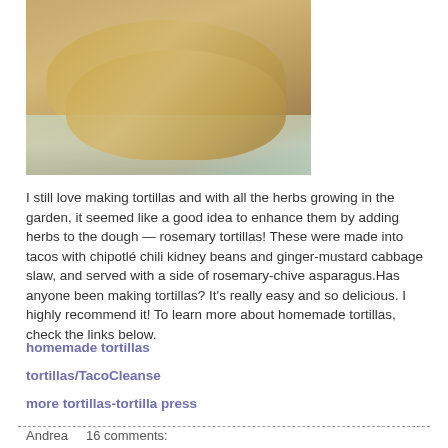[Figure (photo): A stack of homemade herb tortillas on a cloth/towel background]
I still love making tortillas and with all the herbs growing in the garden, it seemed like a good idea to enhance them by adding herbs to the dough — rosemary tortillas! These were made into tacos with chipotlé chili kidney beans and ginger-mustard cabbage slaw, and served with a side of rosemary-chive asparagus.Has anyone been making tortillas? It's really easy and so delicious. I highly recommend it! To learn more about homemade tortillas, check the links below.
homemade tortillas
tortillas/TacoCleanse
more tortillas-tortilla press
Andrea     16 comments: